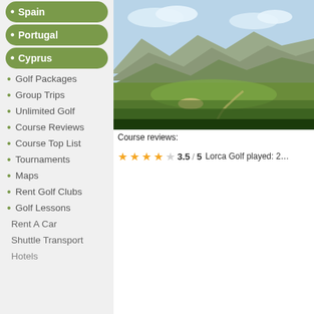Spain
Portugal
Cyprus
Golf Packages
Group Trips
Unlimited Golf
Course Reviews
Course Top List
Tournaments
Maps
Rent Golf Clubs
Golf Lessons
Rent A Car
Shuttle Transport
[Figure (photo): Aerial view of a golf course with mountains in background, green fairways visible]
We are absolutely positive beyond any dou… Jorge Soler to suit the natural landscape.
A unique and unrivalled golf course in the S… (Clubhouse, Pro Shop, training school, driv…
The course suit the natural undulation and … some spectacular landscapes, dry ditches,…
A fantastic view of the nearby mountains ca…
Truly designed to attract professional and h… Southern Mediterranean region.
Course reviews:
3.5 / 5  Lorca Golf played: 2…